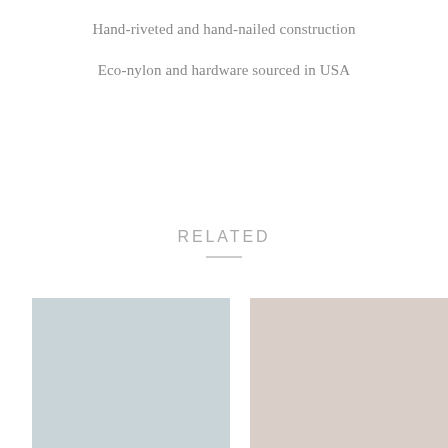Hand-riveted and hand-nailed construction
Eco-nylon and hardware sourced in USA
RELATED
[Figure (photo): Light blue-grey solid color product image placeholder]
[Figure (photo): Light beige-pink solid color product image placeholder]